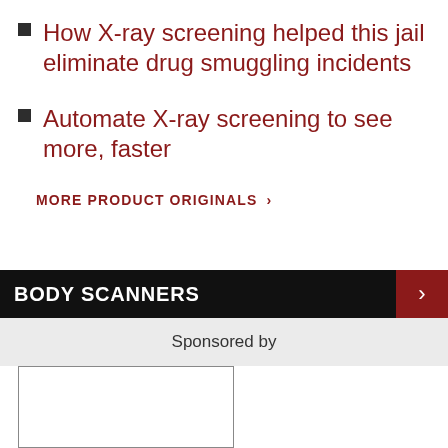How X-ray screening helped this jail eliminate drug smuggling incidents
Automate X-ray screening to see more, faster
MORE PRODUCT ORIGINALS >
BODY SCANNERS
Sponsored by
[Figure (other): Blank advertisement box with border]